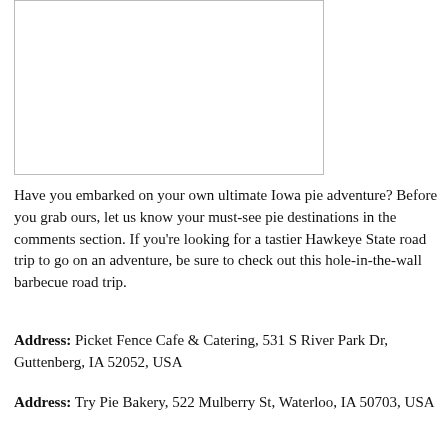[Figure (photo): A white rectangular image placeholder with a light gray border, appearing blank/empty.]
Have you embarked on your own ultimate Iowa pie adventure? Before you grab ours, let us know your must-see pie destinations in the comments section. If you're looking for a tastier Hawkeye State road trip to go on an adventure, be sure to check out this hole-in-the-wall barbecue road trip.
Address: Picket Fence Cafe & Catering, 531 S River Park Dr, Guttenberg, IA 52052, USA
Address: Try Pie Bakery, 522 Mulberry St, Waterloo, IA 50703, USA